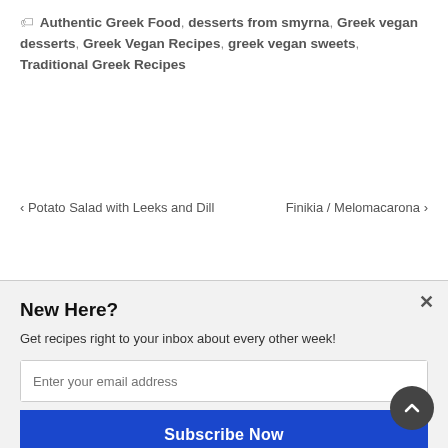🏷 Authentic Greek Food, desserts from smyrna, Greek vegan desserts, Greek Vegan Recipes, greek vegan sweets, Traditional Greek Recipes
‹ Potato Salad with Leeks and Dill    Finikia / Melomacarona ›
2 Responses to Hosafi (Apricot Compote)
New Here?
Get recipes right to your inbox about every other week!
Enter your email address
Subscribe Now